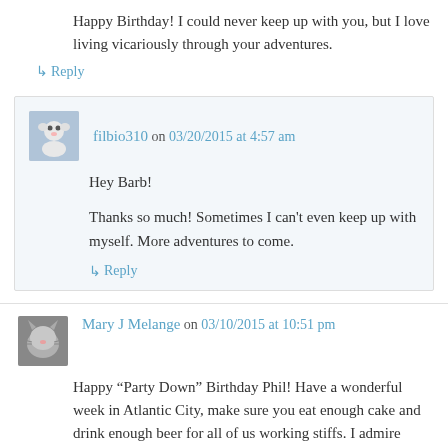Happy Birthday! I could never keep up with you, but I love living vicariously through your adventures.
↳ Reply
filbio310 on 03/20/2015 at 4:57 am
Hey Barb!
Thanks so much! Sometimes I can't even keep up with myself. More adventures to come.
↳ Reply
Mary J Melange on 03/10/2015 at 10:51 pm
Happy “Party Down” Birthday Phil! Have a wonderful week in Atlantic City, make sure you eat enough cake and drink enough beer for all of us working stiffs. I admire your workout ethics and attendance at the mudder-type events. It takes a certain kind of person and commitment to take on that challenge. Anyhow, be safe, be well and carry on.